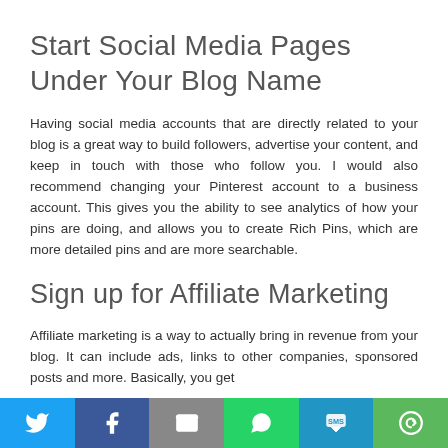Start Social Media Pages Under Your Blog Name
Having social media accounts that are directly related to your blog is a great way to build followers, advertise your content, and keep in touch with those who follow you. I would also recommend changing your Pinterest account to a business account. This gives you the ability to see analytics of how your pins are doing, and allows you to create Rich Pins, which are more detailed pins and are more searchable.
Sign up for Affiliate Marketing
Affiliate marketing is a way to actually bring in revenue from your blog. It can include ads, links to other companies, sponsored posts and more. Basically, you get
[Figure (infographic): Social media sharing bar with six buttons: Twitter (blue bird icon), Facebook (blue 'f' icon), Email (gray envelope icon), WhatsApp (green phone icon), SMS (blue SMS icon), More (green circular arrow icon)]